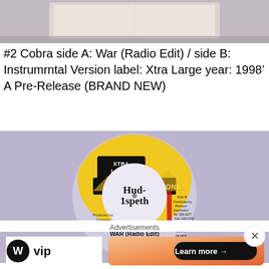[Figure (photo): Top portion showing paper/packaging on a light purple/grey background]
#2 Cobra side A: War (Radio Edit) / side B: Instrumrntal Version label: Xtra Large year: 1998’ A Pre-Release (BRAND NEW)
[Figure (photo): Photo of a vinyl record with Xtra Large Productions label. Center label shows handwritten 'Hud-1speth'. Bottom text reads: WAR (Radio Edit) / (D. Kelly / E. Brown) / COBRA. Label has yellow and black design at top. Side B info visible on right side with distribution details including Platinum Distribution, Tel: 926-6077, Fax: 929-3726, Fax: 960-8038, (P)(C) 1998 Made in Jamaica. Produced by Stranger XL-45 visible on left.]
Advertisements
[Figure (logo): WordPress VIP logo - circle W icon followed by 'vip' text]
[Figure (infographic): Orange/gradient advertisement banner with 'Learn more' button]